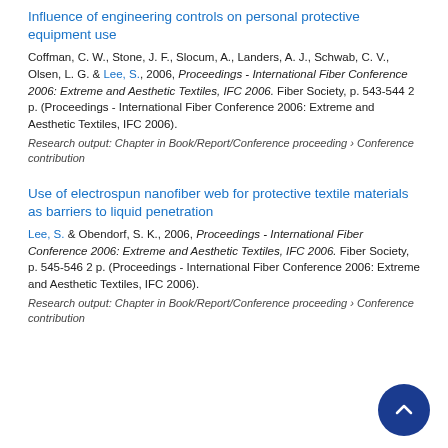Influence of engineering controls on personal protective equipment use
Coffman, C. W., Stone, J. F., Slocum, A., Landers, A. J., Schwab, C. V., Olsen, L. G. & Lee, S., 2006, Proceedings - International Fiber Conference 2006: Extreme and Aesthetic Textiles, IFC 2006. Fiber Society, p. 543-544 2 p. (Proceedings - International Fiber Conference 2006: Extreme and Aesthetic Textiles, IFC 2006).
Research output: Chapter in Book/Report/Conference proceeding › Conference contribution
Use of electrospun nanofiber web for protective textile materials as barriers to liquid penetration
Lee, S. & Obendorf, S. K., 2006, Proceedings - International Fiber Conference 2006: Extreme and Aesthetic Textiles, IFC 2006. Fiber Society, p. 545-546 2 p. (Proceedings - International Fiber Conference 2006: Extreme and Aesthetic Textiles, IFC 2006).
Research output: Chapter in Book/Report/Conference proceeding › Conference contribution